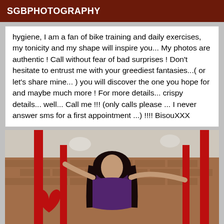SGBPHOTOGRAPHY
hygiene, I am a fan of bike training and daily exercises, my tonicity and my shape will inspire you... My photos are authentic ! Call without fear of bad surprises ! Don't hesitate to entrust me with your greediest fantasies...( or let's share mine... ) you will discover the one you hope for and maybe much more ! For more details... crispy details... well... Call me !!! (only calls please ... I never answer sms for a first appointment ...) !!!! BisouXXX
[Figure (photo): A woman with dark hair wearing a purple corset, posing in a gym-like setting with red metal bars/poles, a red heart-shaped decoration visible on the left, brick wall and ceiling lights in background.]